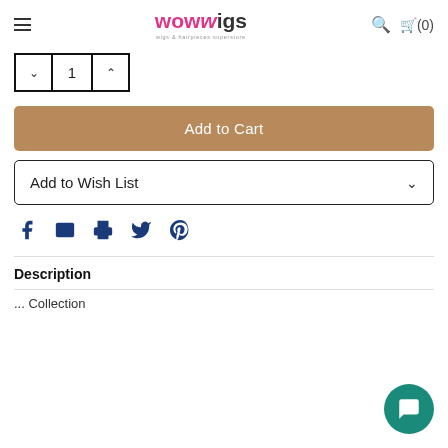wowwigs — wigs & hairpieces superstore
[Figure (screenshot): Quantity selector with decrement, value '1', and increment buttons inside a bordered box]
[Figure (screenshot): Add to Cart button — tan/gold color]
[Figure (screenshot): Add to Wish List button with chevron]
[Figure (screenshot): Social sharing icons: Facebook, Email, Print, Twitter, Pinterest]
Description
... Collection (partially visible)